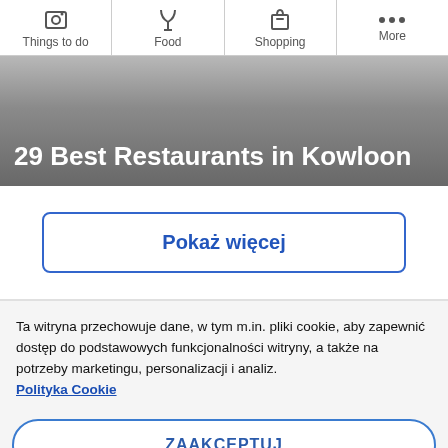Things to do | Food | Shopping | More
29 Best Restaurants in Kowloon
Pokaż więcej
Ta witryna przechowuje dane, w tym m.in. pliki cookie, aby zapewnić dostęp do podstawowych funkcjonalności witryny, a także na potrzeby marketingu, personalizacji i analiz. Polityka Cookie
ZAAKCEPTUJ